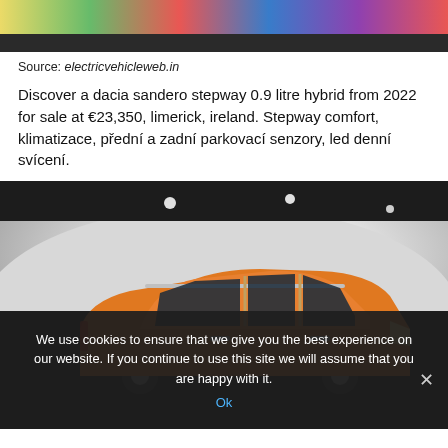[Figure (photo): Top portion of a colorful gradient/rainbow image with a dark bar at the bottom]
Source: electricvehicleweb.in
Discover a dacia sandero stepway 0.9 litre hybrid from 2022 for sale at €23,350, limerick, ireland. Stepway comfort, klimatizace, přední a zadní parkovací senzory, led denní svícení.
[Figure (photo): Orange Dacia Sandero Stepway car photographed in a white studio environment from the side]
We use cookies to ensure that we give you the best experience on our website. If you continue to use this site we will assume that you are happy with it. Ok